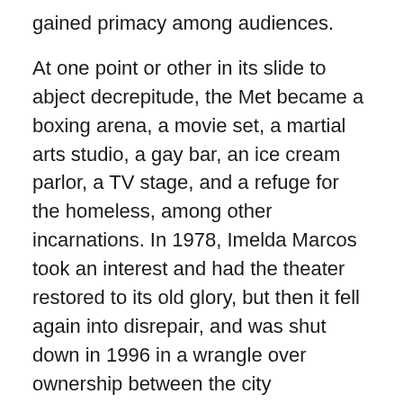gained primacy among audiences.
At one point or other in its slide to abject decrepitude, the Met became a boxing arena, a movie set, a martial arts studio, a gay bar, an ice cream parlor, a TV stage, and a refuge for the homeless, among other incarnations. In 1978, Imelda Marcos took an interest and had the theater restored to its old glory, but then it fell again into disrepair, and was shut down in 1996 in a wrangle over ownership between the city government and the GSIS. Gloria Macapagal Arroyo and Mayor Fred Lim renovated and reopened it in 2010, when it was declared a “National Treasure” by the National Museum, but yet again it succumbed to politics, bureaucracy, and benign neglect; after a concert by the rock band Wolfgang in mid-2011, it was locked up by the GSIS.